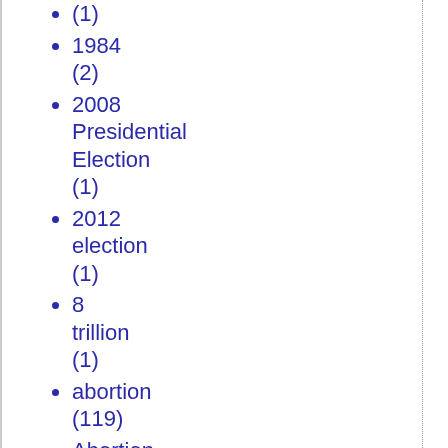(1)
1984 (2)
2008 Presidential Election (1)
2012 election (1)
8 trillion (1)
abortion (119)
Abortion (3)
Abraham Lincoln (1)
abstractions (4)
academic freedom (1)